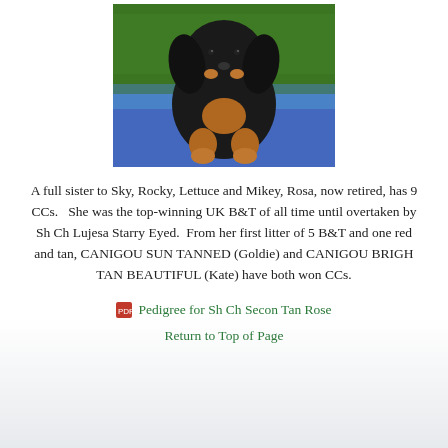[Figure (photo): Photo of a black and tan Cocker Spaniel dog sitting on a blue mat on grass]
A full sister to Sky, Rocky, Lettuce and Mikey, Rosa, now retired, has 9 CCs.   She was the top-winning UK B&T of all time until overtaken by Sh Ch Lujesa Starry Eyed.  From her first litter of 5 B&T and one red and tan, CANIGOU SUN TANNED (Goldie) and CANIGOU BRIGH TAN BEAUTIFUL (Kate) have both won CCs.
🔴 Pedigree for Sh Ch Secon Tan Rose
Return to Top of Page